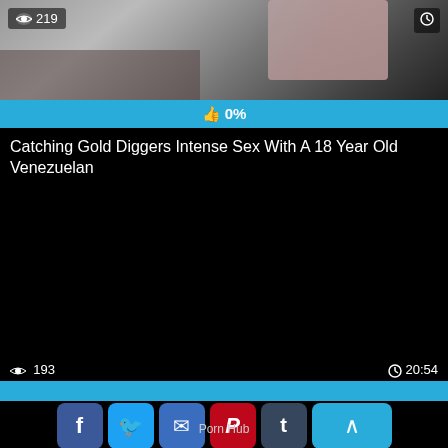[Figure (screenshot): Video thumbnail showing partial image with view count badge showing 219 and clock icon in top corners, with blue like bar showing 0%]
Catching Gold Diggers Intense Sex With A 18 Year Old Venezuelan
[Figure (screenshot): Black video player area with view count 193 and duration 20:54, progress bar, and social share buttons including Facebook, Twitter, Email, Pinterest, Tumblr, Reddit, Blogger, WordPress, VK, More]